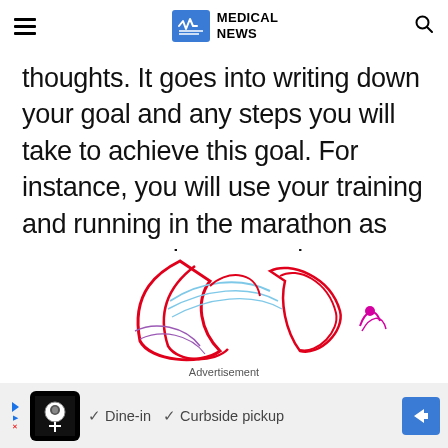MEDICAL NEWS
thoughts. It goes into writing down your goal and any steps you will take to achieve this goal. For instance, you will use your training and running in the marathon as steps to reach your goal.
[Figure (illustration): Colorful decorative butterfly/floral illustration with red, blue, and magenta curved lines]
Advertisement
[Figure (other): Advertisement banner showing restaurant with Dine-in and Curbside pickup options]